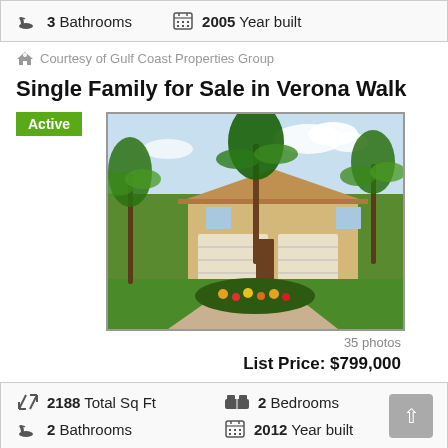3 Bathrooms   2005 Year built
Courtesy of Gulf Coast Properties Group
Single Family for Sale in Verona Walk
Active
[Figure (photo): Exterior photo of a single-family home with palm trees, green landscaping with colorful flowers, and a wide paved driveway with a two-car garage.]
35 photos
List Price:  $799,000
2188 Total Sq Ft   2 Bedrooms   2 Bathrooms   2012 Year built
Courtesy of Gulf Coast Properties Group